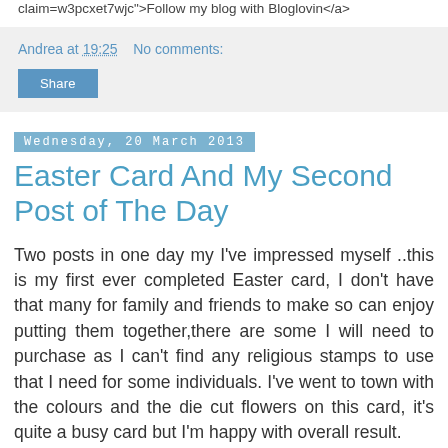claim=w3pcxet7wjc">Follow my blog with Bloglovin</a>
Andrea at 19:25    No comments:
Share
Wednesday, 20 March 2013
Easter Card And My Second Post of The Day
Two posts in one day my I've impressed myself ..this is my first ever completed Easter card, I don't have that many for family and friends to make so can enjoy putting them together,there are some I will need to purchase as I can't find any religious stamps to use that I need for some individuals. I've went to town with the colours and the die cut flowers on this card, it's quite a busy card but I'm happy with overall result.